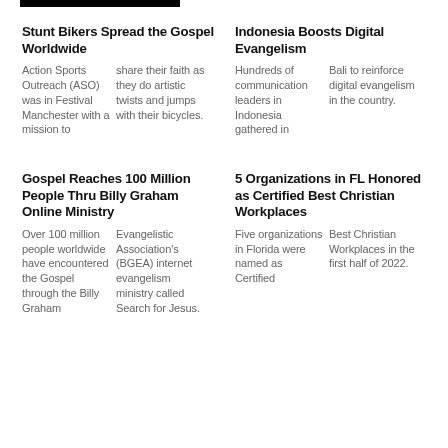Stunt Bikers Spread the Gospel Worldwide
Action Sports Outreach (ASO) was in Festival Manchester with a mission to share their faith as they do artistic twists and jumps with their bicycles.
Indonesia Boosts Digital Evangelism
Hundreds of communication leaders in Indonesia gathered in Bali to reinforce digital evangelism in the country.
Gospel Reaches 100 Million People Thru Billy Graham Online Ministry
Over 100 million people worldwide have encountered the Gospel through the Billy Graham Evangelistic Association's (BGEA) internet evangelism ministry called Search for Jesus.
5 Organizations in FL Honored as Certified Best Christian Workplaces
Five organizations in Florida were named as Certified Best Christian Workplaces in the first half of 2022.